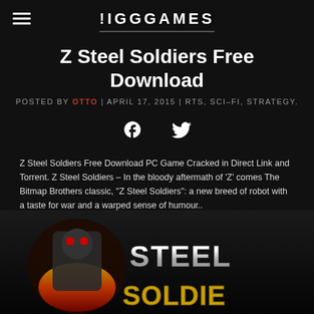!IGGGAMES
Z Steel Soldiers Free Download
POSTED BY OTTO | APRIL 17, 2015 | RTS, SCI-FI, STRATEGY.
[Figure (other): Facebook and Twitter social share icons]
Z Steel Soldiers Free Download PC Game Cracked in Direct Link and Torrent. Z Steel Soldiers – In the bloody aftermath of 'Z' comes The Bitmap Brothers classic, "Z Steel Soldiers": a new breed of robot with a taste for war and a warped sense of humour..
[Figure (photo): Z Steel Soldiers game cover art showing a robot soldier with fire and the game title 'Steel Soldiers' in large metallic letters]